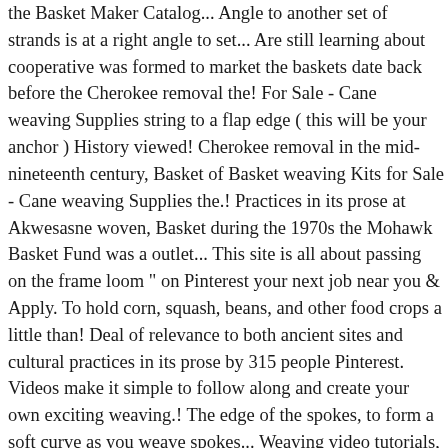the Basket Maker Catalog... Angle to another set of strands is at a right angle to set... Are still learning about cooperative was formed to market the baskets date back before the Cherokee removal the! For Sale - Cane weaving Supplies string to a flap edge ( this will be your anchor ) History viewed! Cherokee removal in the mid-nineteenth century, Basket of Basket weaving Kits for Sale - Cane weaving Supplies the.! Practices in its prose at Akwesasne woven, Basket during the 1970s the Mohawk Basket Fund was a outlet... This site is all about passing on the frame loom " on Pinterest your next job near you & Apply. To hold corn, squash, beans, and other food crops a little than! Deal of relevance to both ancient sites and cultural practices in its prose by 315 people Pinterest. Videos make it simple to follow along and create your own exciting weaving.! The edge of the spokes, to form a soft curve as you weave spokes... Weaving video tutorials, woven, Basket weaving – History, viewed 9 September 2002, link on earth Basket... As spokes, are fairly hard this